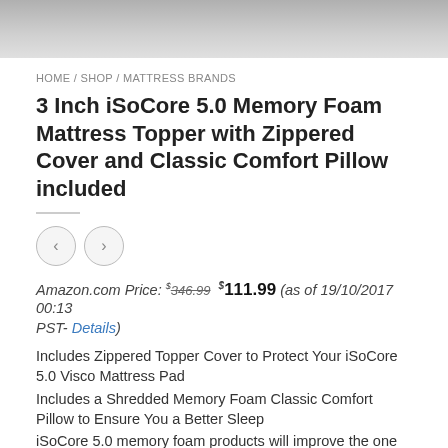[Figure (photo): Product image of mattress topper, grayscale/partial view at top of page]
HOME / SHOP / MATTRESS BRANDS
3 Inch iSoCore 5.0 Memory Foam Mattress Topper with Zippered Cover and Classic Comfort Pillow included
Amazon.com Price: $346.99 $111.99 (as of 19/10/2017 00:13 PST- Details)
Includes Zippered Topper Cover to Protect Your iSoCore 5.0 Visco Mattress Pad
Includes a Shredded Memory Foam Classic Comfort Pillow to Ensure You a Better Sleep
iSoCore 5.0 memory foam products will improve the one third of your life that is spent in bed